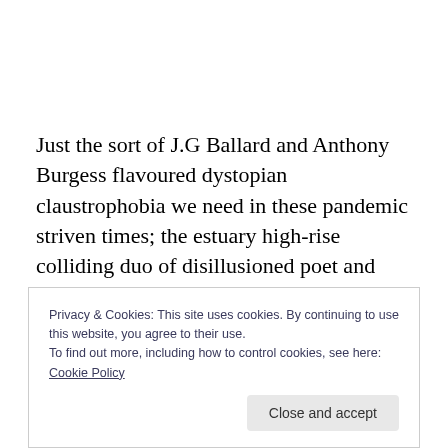Just the sort of J.G Ballard and Anthony Burgess flavoured dystopian claustrophobia we need in these pandemic striven times; the estuary high-rise colliding duo of disillusioned poet and artist Lisa Jayne and pounding sonic foil Andy Pyne deliver a skulking barrage from the edges of the inner city and suburban wastelands. Under the Map 71 cover they release a fifth album sound-clash
Privacy & Cookies: This site uses cookies. By continuing to use this website, you agree to their use.
To find out more, including how to control cookies, see here: Cookie Policy
Close and accept